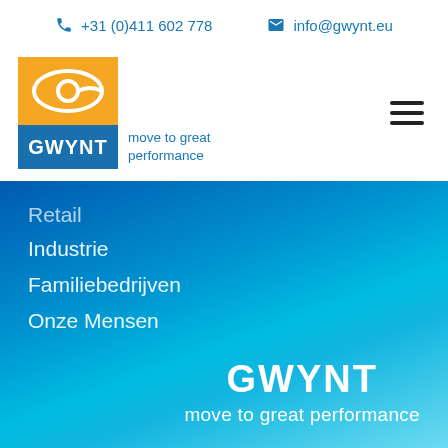+31 (0)411 602 778  info@gwynt.eu
[Figure (logo): GWYNT logo with orange top section containing a white eye/leaf symbol, and blue bottom section with GWYNT text. Tagline: move to great performance]
Industrie
Familiebedrijven
Onze Mensen
GWYNT
move to great performance